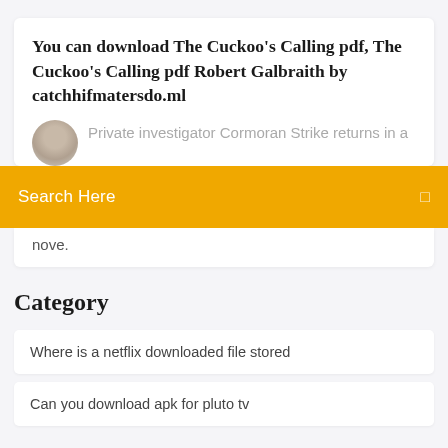You can download The Cuckoo's Calling pdf, The Cuckoo's Calling pdf Robert Galbraith by catchhifmatersdo.ml
Private investigator Cormoran Strike returns in a nove.
Search Here
Category
Where is a netflix downloaded file stored
Can you download apk for pluto tv